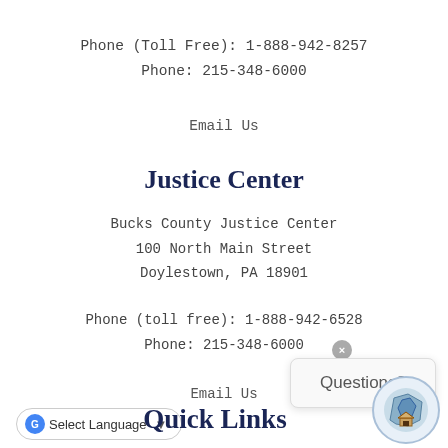Phone (Toll Free): 1-888-942-8257
Phone: 215-348-6000
Email Us
Justice Center
Bucks County Justice Center
100 North Main Street
Doylestown, PA 18901
Phone (toll free): 1-888-942-6528
Phone: 215-348-6000
Questions?
Email Us
[Figure (screenshot): Select Language dropdown widget with Google Translate icon]
Quick Links
[Figure (logo): Bucks County seal/logo with map graphic]